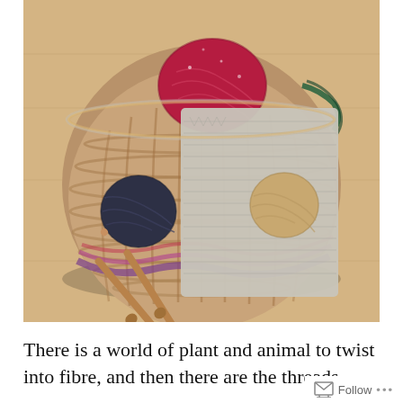[Figure (photo): Overhead view of a wicker basket containing yarn balls (red/crimson, dark navy, and beige/natural), a partially knitted grey piece, and wooden knitting needles, placed on a light wooden floor.]
There is a world of plant and animal to twist into fibre, and then there are the threads...